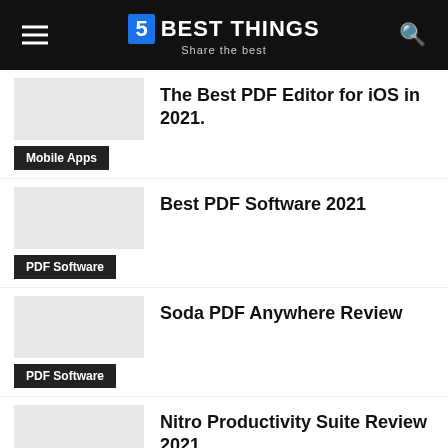5 BEST THINGS — Share the best
The Best PDF Editor for iOS in 2021.
Mobile Apps
Best PDF Software 2021
PDF Software
Soda PDF Anywhere Review
PDF Software
Nitro Productivity Suite Review 2021
PDF Software
How To Extract PDF Pages A PDF P…